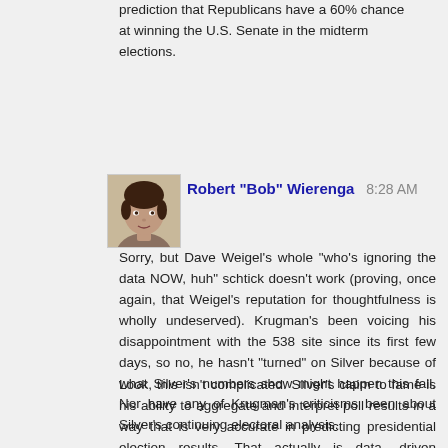prediction that Republicans have a 60% chance at winning the U.S. Senate in the midterm elections.
[Figure (photo): Avatar photo of Robert 'Bob' Wierenga — a person's face, appears to be a young man with dark hair]
Robert "Bob" Wierenga  8:28 AM
Sorry, but Dave Weigel's whole "who's ignoring the data NOW, huh" schtick doesn't work (proving, once again, that Weigel's reputation for thoughtfulness is wholly undeserved). Krugman's been voicing his disappointment with the 538 site since its first few days, so no, he hasn't "turned" on Silver because of what Silver's numbers show might happen this fall. Nor have any of Krugman's criticisms been about Silver's continuing electoral analysis.
Look, this isn't complicated. Silver's claim to fame is his ability to aggregate and interpret poll results in a way that is very accurate in predicting presidential election results. That actually is data-driven analysis. That's not what his new site is doing, and it's not hypocritical, or whatever, for